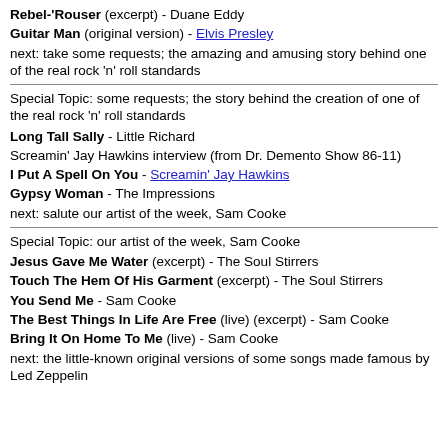Rebel-'Rouser (excerpt) - Duane Eddy
Guitar Man (original version) - Elvis Presley
next: take some requests; the amazing and amusing story behind one of the real rock 'n' roll standards
Special Topic: some requests; the story behind the creation of one of the real rock 'n' roll standards
Long Tall Sally - Little Richard
Screamin' Jay Hawkins interview (from Dr. Demento Show 86-11)
I Put A Spell On You - Screamin' Jay Hawkins
Gypsy Woman - The Impressions
next: salute our artist of the week, Sam Cooke
Special Topic: our artist of the week, Sam Cooke
Jesus Gave Me Water (excerpt) - The Soul Stirrers
Touch The Hem Of His Garment (excerpt) - The Soul Stirrers
You Send Me - Sam Cooke
The Best Things In Life Are Free (live) (excerpt) - Sam Cooke
Bring It On Home To Me (live) - Sam Cooke
next: the little-known original versions of some songs made famous by Led Zeppelin